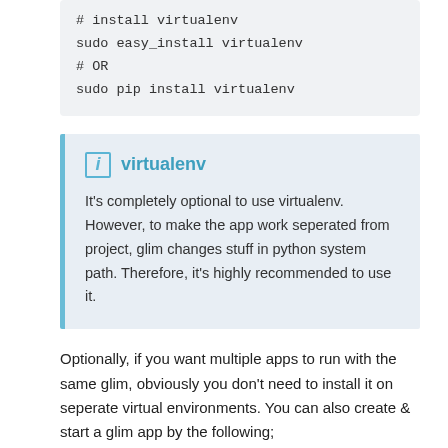# install virtualenv
sudo easy_install virtualenv
# OR
sudo pip install virtualenv
virtualenv
It's completely optional to use virtualenv. However, to make the app work seperated from project, glim changes stuff in python system path. Therefore, it's highly recommended to use it.
Optionally, if you want multiple apps to run with the same glim, obviously you don't need to install it on seperate virtual environments. You can also create & start a glim app by the following;
Shell